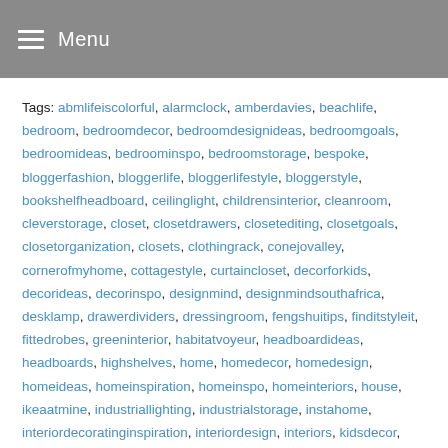Menu
Tags: abmlifeiscolorful, alarmclock, amberdavies, beachlife, bedroom, bedroomdecor, bedroomdesignideas, bedroomgoals, bedroomideas, bedroominspo, bedroomstorage, bespoke, bloggerfashion, bloggerlife, bloggerlifestyle, bloggerstyle, bookshelfheadboard, ceilinglight, childrensinterior, cleanroom, cleverstorage, closet, closetdrawers, closetediting, closetgoals, closetorganization, closets, clothingrack, conejovalley, cornerofmyhome, cottagestyle, curtaincloset, decorforkids, decorideas, decorinspo, designmind, designmindsouthafrica, desklamp, drawerdividers, dressingroom, fengshuitips, finditstyleit, fittedrobes, greeninterior, habitatvoyeur, headboardideas, headboards, highshelves, home, homedecor, homedesign, homeideas, homeinspiration, homeinspo, homeinteriors, house, ikeaatmine, industriallighting, industrialstorage, instahome, interiordecoratinginspiration, interiordesign, interiors, kidsdecor, kids_decor, lightandbright, liketkit, liketoknowithome, Living, lockers, loveourhouse, LTKhome, LTKunder100, LTKunder50, MADEdesign, manwithskills, momguiltisreal, montecito, mymdm, NEATsantabarbara, noclosetspace, oktcs, organizedcloset, organizedforsuccess, organizedhome, organizedlife, organizedroom, organizeyourhome